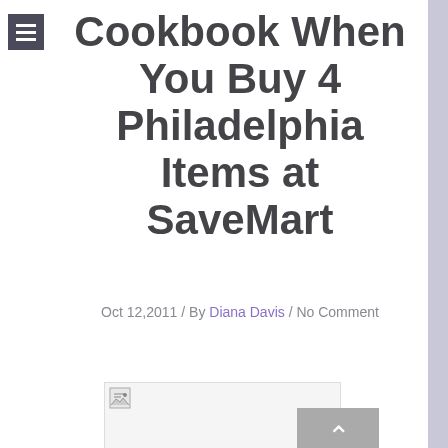Navigation menu icon
Cookbook When You Buy 4 Philadelphia Items at SaveMart
Oct 12,2011 / By Diana Davis / No Comment
[Figure (photo): Image placeholder with broken image icon, partially overlaid with a gray scroll-to-top button with upward arrow]